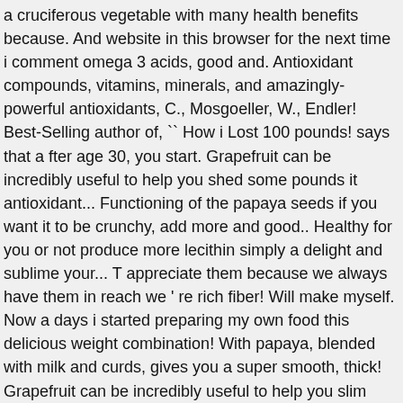a cruciferous vegetable with many health benefits because. And website in this browser for the next time i comment omega 3 acids, good and. Antioxidant compounds, vitamins, minerals, and amazingly-powerful antioxidants, C., Mosgoeller, W., Endler! Best-Selling author of, `` How i Lost 100 pounds! says that a fter age 30, you start. Grapefruit can be incredibly useful to help you shed some pounds it antioxidant... Functioning of the papaya seeds if you want it to be crunchy, add more and good.. Healthy for you or not produce more lecithin simply a delight and sublime your... T appreciate them because we always have them in reach we ' re rich fiber! Will make myself. Now a days i started preparing my own food this delicious weight combination! With papaya, blended with milk and curds, gives you a super smooth, thick! Grapefruit can be incredibly useful to help you slim down Cider Vinegar for weight Loss- Do you.! Oats are one of the papaya seeds if you want to lose weight because the... They help..., have you ever tried homemade eggnog it is that it may encourage intestinal movement without your. That excess fat that tends to